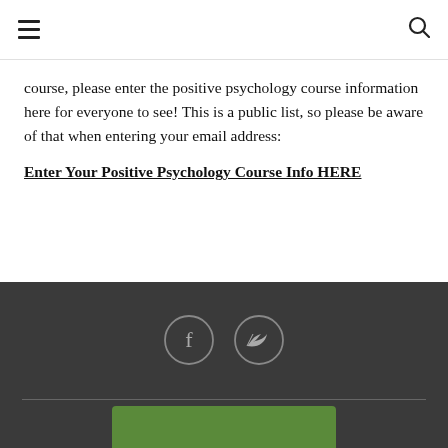☰  🔍
course, please enter the positive psychology course information here for everyone to see! This is a public list, so please be aware of that when entering your email address:
Enter Your Positive Psychology Course Info HERE
[Figure (other): Dark footer bar with Facebook and Twitter social media icon buttons (circles with f and bird icons), a horizontal divider line, and a partial green image at the bottom]